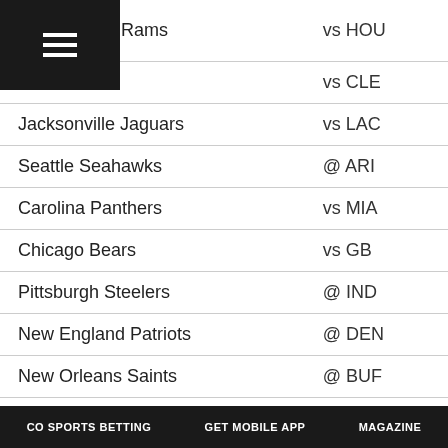| Team | Matchup |
| --- | --- |
| Los Angeles Rams | vs HOU |
| Detroit Lions | vs CLE |
| Jacksonville Jaguars | vs LAC |
| Seattle Seahawks | @ ARI |
| Carolina Panthers | vs MIA |
| Chicago Bears | vs GB |
| Pittsburgh Steelers | @ IND |
| New England Patriots | @ DEN |
| New Orleans Saints | @ BUF |
| Tampa Bay Buccaneers | vs NYJ |
| Buffalo Bills | vs NO |
| Tennessee Titans | vs CIN |
| Minnesota Vikings | @ WAS |
CO SPORTS BETTING   GET MOBILE APP   MAGAZINE